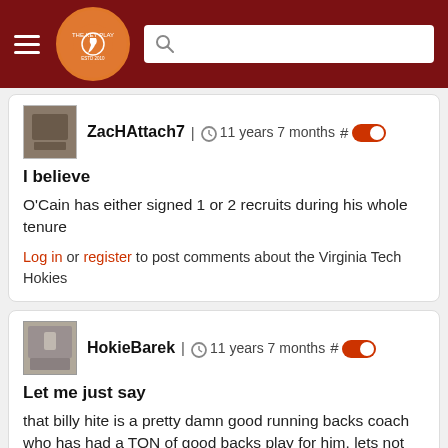The Key Play — navigation header with logo and search bar
ZacHAttach7 | 11 years 7 months #
I believe
O'Cain has either signed 1 or 2 recruits during his whole tenure
Log in or register to post comments about the Virginia Tech Hokies
HokieBarek | 11 years 7 months #
Let me just say
that billy hite is a pretty damn good running backs coach who has had a TON of good backs play for him. lets not fire him for redshirting ryan williams.....yeah, it